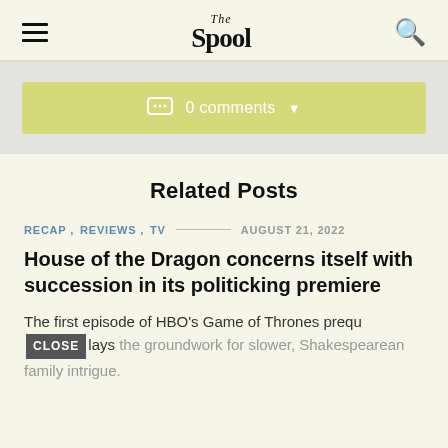The Spool
0 comments
Related Posts
RECAP,  REVIEWS,  TV — AUGUST 21, 2022
House of the Dragon concerns itself with succession in its politicking premiere
The first episode of HBO's Game of Thrones prequel lays the groundwork for slower, Shakespearean family intrigue.